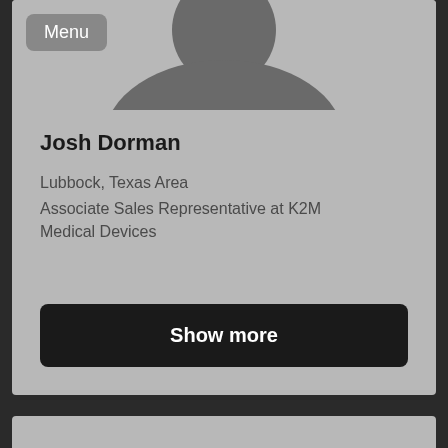[Figure (photo): Profile photo placeholder showing a silhouette of a person's head and shoulders against a gray background]
Josh Dorman
Lubbock, Texas Area
Associate Sales Representative at K2M Medical Devices
Show more